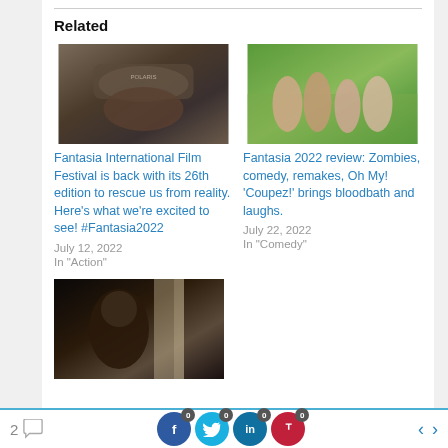Related
[Figure (photo): Close-up of a person wearing a military-style hat with text on it, dirty face visible]
Fantasia International Film Festival is back with its 26th edition to rescue us from reality. Here's what we're excited to see! #Fantasia2022
July 12, 2022
In "Action"
[Figure (photo): Group of people outdoors in colorful clothes, green trees in background]
Fantasia 2022 review: Zombies, comedy, remakes, Oh My! 'Coupez!' brings bloodbath and laughs.
July 22, 2022
In "Comedy"
[Figure (photo): Dark silhouette of a person in a dimly lit room with light coming from behind]